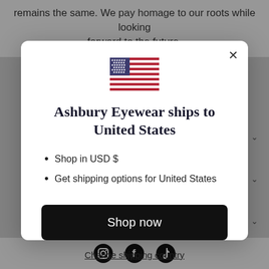remains the same. We pay homage to our roots while looking forward to the future.
[Figure (screenshot): Modal dialog showing Ashbury Eyewear shipping destination popup with US flag, title, bullet points, Shop now button, and Change shipping country link]
Ashbury Eyewear ships to United States
Shop in USD $
Get shipping options for United States
Shop now
Change shipping country